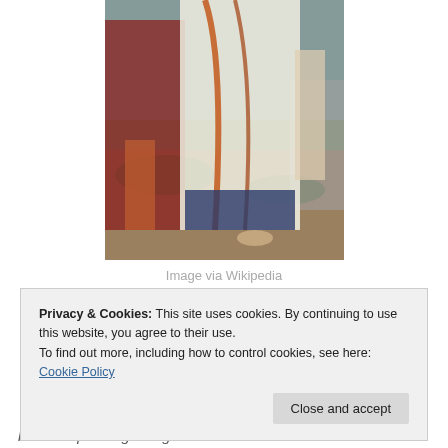[Figure (illustration): A cropped painting showing a woman in white and colored robes with figures around her in a landscape setting]
Image via Wikipedia
Privacy & Cookies: This site uses cookies. By continuing to use this website, you agree to their use.
To find out more, including how to control cookies, see here: Cookie Policy
he was speaking along came Rachel with her father's